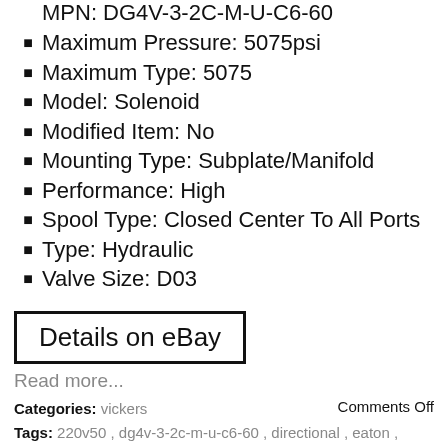Maximum Pressure: 5075psi
Maximum Type: 5075
Model: Solenoid
Modified Item: No
Mounting Type: Subplate/Manifold
Performance: High
Spool Type: Closed Center To All Ports
Type: Hydraulic
Valve Size: D03
Details on eBay
Read more...
Categories: vickers   Comments Off
Tags: 220v50 , dg4v-3-2c-m-u-c6-60 , directional , eaton , operated , solenoid , valve , vickers